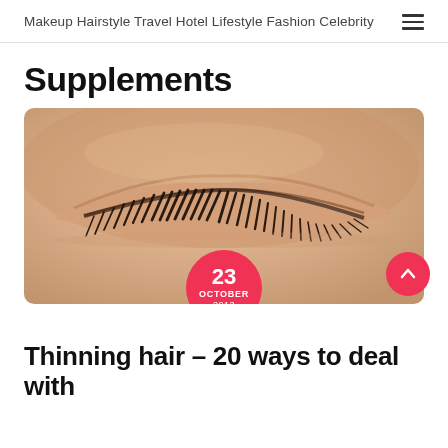Makeup Hairstyle Travel Hotel Lifestyle Fashion Celebrity
Supplements
[Figure (photo): Close-up photo of a closed human eye with long dark eyelashes against skin-toned background, with a red circular date badge showing 23 OCTOBER 2013]
Thinning hair – 20 ways to deal with